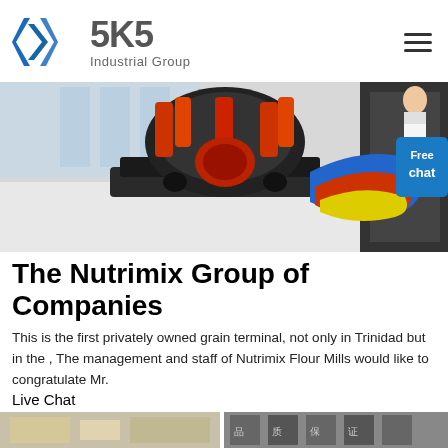[Figure (logo): SKS Industrial Group logo with stylized S arrow icon in blue and grey, text 'SKS' in large grey bold font, 'Industrial Group' subtitle]
[Figure (photo): Industrial crushing/milling machine (cone crusher) with orange and red components on a polished floor, displayed in a factory showroom setting]
The Nutrimix Group of Companies
This is the first privately owned grain terminal, not only in Trinidad but in the , The management and staff of Nutrimix Flour Mills would like to congratulate Mr.
Live Chat
[Figure (photo): Partial bottom strip showing industrial equipment/machinery images]